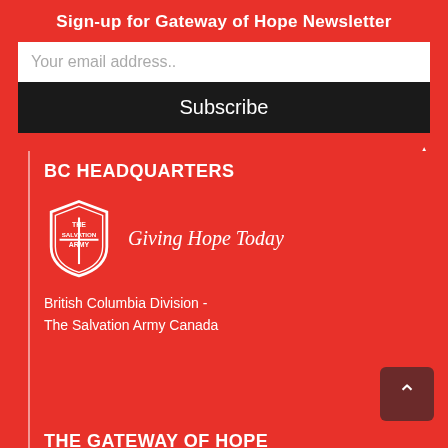Sign-up for Gateway of Hope Newsletter
Your email address..
Subscribe
BC HEADQUARTERS
[Figure (logo): The Salvation Army shield logo with text 'THE SALVATION ARMY' and tagline 'Giving Hope Today']
British Columbia Division -
The Salvation Army Canada
THE GATEWAY OF HOPE